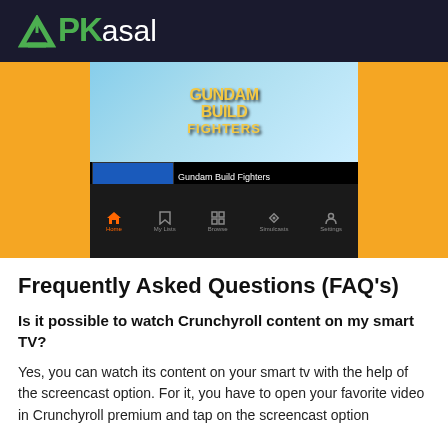APKasal
[Figure (screenshot): Screenshot of Crunchyroll app showing Gundam Build Fighters anime title page with navigation bar (Home, My Lists, Browse, Simulcasts, Settings)]
Frequently Asked Questions (FAQ's)
Is it possible to watch Crunchyroll content on my smart TV?
Yes, you can watch its content on your smart tv with the help of the screencast option. For it, you have to open your favorite video in Crunchyroll premium and tap on the screencast option